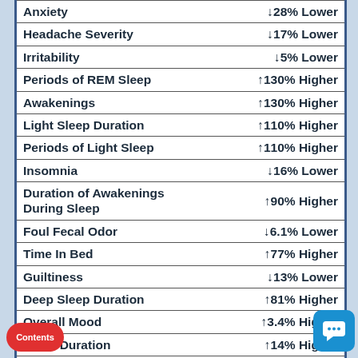| Metric | Change |
| --- | --- |
| Anxiety | ↓28% Lower |
| Headache Severity | ↓17% Lower |
| Irritability | ↓5% Lower |
| Periods of REM Sleep | ↑130% Higher |
| Awakenings | ↑130% Higher |
| Light Sleep Duration | ↑110% Higher |
| Periods of Light Sleep | ↑110% Higher |
| Insomnia | ↓16% Lower |
| Duration of Awakenings During Sleep | ↑90% Higher |
| Foul Fecal Odor | ↓6.1% Lower |
| Time In Bed | ↑77% Higher |
| Guiltiness | ↓13% Lower |
| Deep Sleep Duration | ↑81% Higher |
| Overall Mood | ↑3.4% Higher |
| Sleep Duration | ↑14% Higher |
| Periods of Deep Sleep | ↑76% Higher |
| Neck Pain | ↑21% Higher |